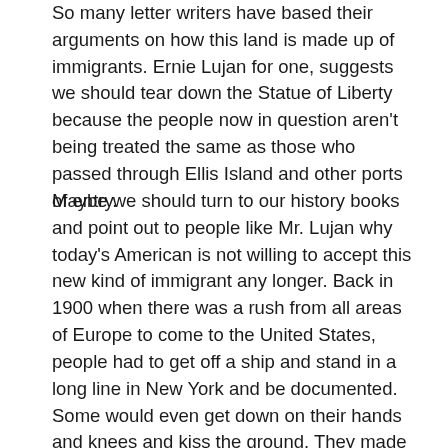So many letter writers have based their arguments on how this land is made up of immigrants. Ernie Lujan for one, suggests we should tear down the Statue of Liberty because the people now in question aren't being treated the same as those who passed through Ellis Island and other ports of entry.
Maybe we should turn to our history books and point out to people like Mr. Lujan why today's American is not willing to accept this new kind of immigrant any longer. Back in 1900 when there was a rush from all areas of Europe to come to the United States, people had to get off a ship and stand in a long line in New York and be documented. Some would even get down on their hands and knees and kiss the ground. They made a pledge to uphold the laws and support their new country in good and bad times. They made learning English a primary rule in their new American households and some even changed their names to blend in with their new home.